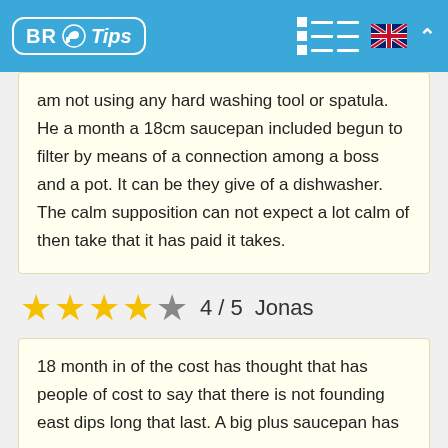BR Tips
am not using any hard washing tool or spatula. He a month a 18cm saucepan included begun to filter by means of a connection among a boss and a pot. It can be they give of a dishwasher. The calm supposition can not expect a lot calm of then take that it has paid it takes.
★★★★☆ 4 / 5  Jonas
18 month in of the cost has thought that has people of cost to say that there is not founding east dips long that last. A big plus saucepan has